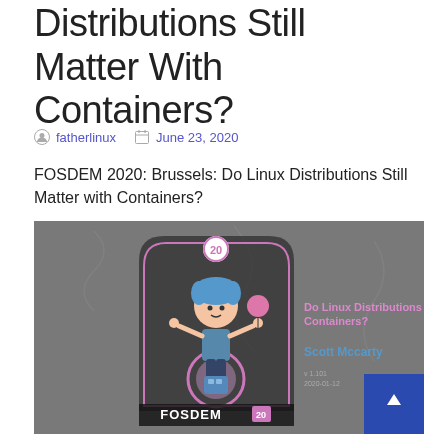Distributions Still Matter With Containers?
fatherlinux   June 23, 2020
FOSDEM 2020: Brussels: Do Linux Distributions Still Matter with Containers?
[Figure (screenshot): FOSDEM 2020 conference slide showing a cartoon character with blue hair holding a balloon, FOSDEM 20 logo, and text 'Do Linux Distributions Still Matter with Containers?' by Scott Mccarty on a dark grey background]